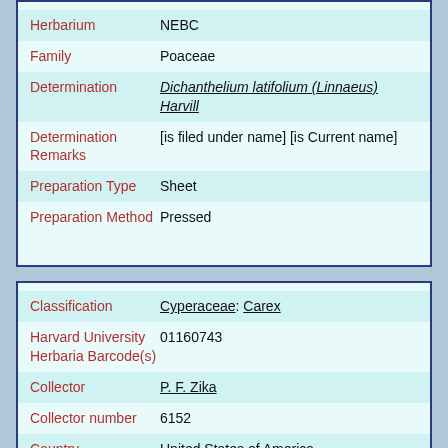| Field | Value |
| --- | --- |
| Herbarium | NEBC |
| Family | Poaceae |
| Determination | Dichanthelium latifolium (Linnaeus) Harvill |
| Determination Remarks | [is filed under name] [is Current name] |
| Preparation Type | Sheet |
| Preparation Method | Pressed |
| Field | Value |
| --- | --- |
| Classification | Cyperaceae: Carex |
| Harvard University Herbaria Barcode(s) | 01160743 |
| Collector | P. F. Zika |
| Collector number | 6152 |
| Country | United States of America |
| State | Vermont |
| Geography | North America: North America (CA, US, MX) (Region): D |